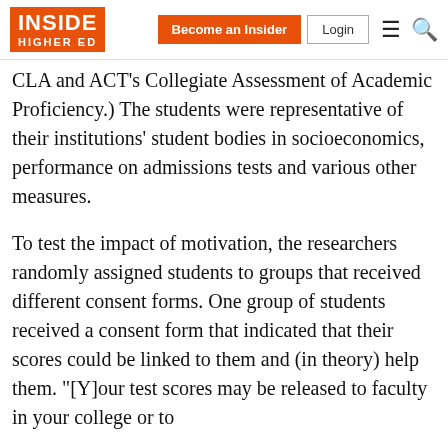INSIDE HIGHER ED | Become an Insider | Login
CLA and ACT's Collegiate Assessment of Academic Proficiency.) The students were representative of their institutions' student bodies in socioeconomics, performance on admissions tests and various other measures.
To test the impact of motivation, the researchers randomly assigned students to groups that received different consent forms. One group of students received a consent form that indicated that their scores could be linked to them and (in theory) help them. "[Y]our test scores may be released to faculty in your college or to
4 of 5 articles left this month.
Sign up for a free account or Log in.